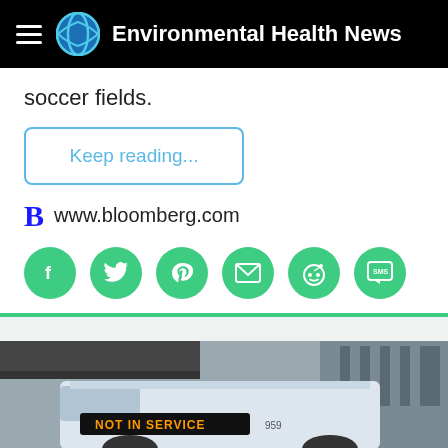Environmental Health News
soccer fields.
Keep reading...
B www.bloomberg.com
[Figure (infographic): Social sharing icons: Facebook, Twitter, Pinterest, Email, Reddit, SMS — all green circles with white icons]
[Figure (photo): A public transit bus with 'NOT IN SERVICE' displayed on the front LED sign, photographed in an urban setting with elevated infrastructure visible in the background]